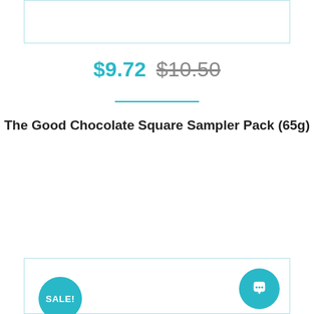[Figure (other): Product image placeholder box (top, partially visible)]
$9.72 $10.50
The Good Chocolate Square Sampler Pack (65g)
ADD TO CART
[Figure (other): Second product card with SALE! badge and chat bubble icon (bottom, partially visible)]